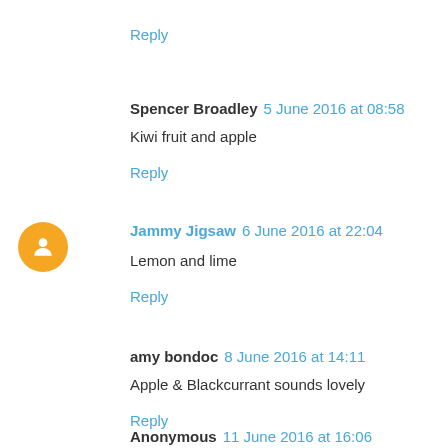Reply
Spencer Broadley  5 June 2016 at 08:58
Kiwi fruit and apple
Reply
Jammy Jigsaw  6 June 2016 at 22:04
Lemon and lime
Reply
amy bondoc  8 June 2016 at 14:11
Apple & Blackcurrant sounds lovely
Reply
Anonymous  11 June 2016 at 16:06